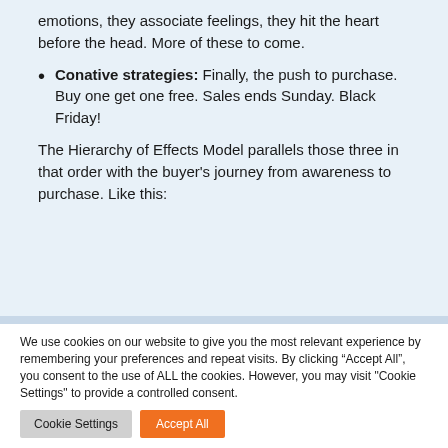emotions, they associate feelings, they hit the heart before the head. More of these to come.
Conative strategies: Finally, the push to purchase. Buy one get one free. Sales ends Sunday. Black Friday!
The Hierarchy of Effects Model parallels those three in that order with the buyer's journey from awareness to purchase. Like this:
We use cookies on our website to give you the most relevant experience by remembering your preferences and repeat visits. By clicking “Accept All”, you consent to the use of ALL the cookies. However, you may visit "Cookie Settings" to provide a controlled consent.